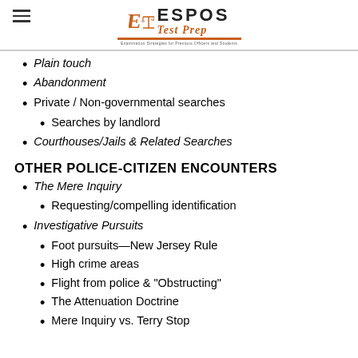ESPOS Test Prep
Plain touch
Abandonment
Private / Non-governmental searches
Searches by landlord
Courthouses/Jails & Related Searches
OTHER POLICE-CITIZEN ENCOUNTERS
The Mere Inquiry
Requesting/compelling identification
Investigative Pursuits
Foot pursuits—New Jersey Rule
High crime areas
Flight from police & "Obstructing"
The Attenuation Doctrine
Mere Inquiry vs. Terry Stop